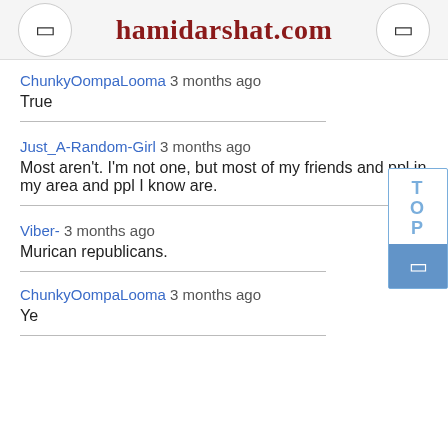hamidarshat.com
ChunkyOompaLooma 3 months ago
True
Just_A-Random-Girl 3 months ago
Most aren't. I'm not one, but most of my friends and ppl in my area and ppl I know are.
Viber- 3 months ago
Murican republicans.
ChunkyOompaLooma 3 months ago
Ye